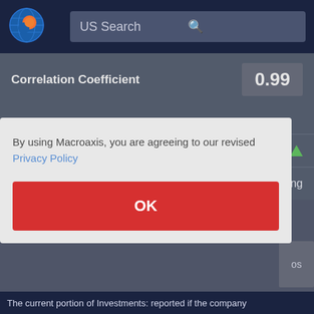[Figure (logo): Macroaxis globe logo with orange and blue colors]
US Search
Correlation Coefficient   0.99
|  |  |
| --- | --- |
| Relationship Direction | Positive ▲ |
| Relationship Strength | Very Strong |
By using Macroaxis, you are agreeing to our revised Privacy Policy
OK
The current portion of Investments: reported if the company